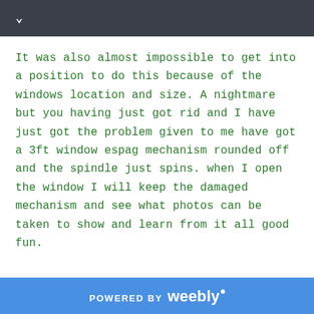It was also almost impossible to get into a position to do this because of the windows location and size. A nightmare but you having just got rid and I have just got the problem given to me have got a 3ft window espag mechanism rounded off and the spindle just spins. when I open the window I will keep the damaged mechanism and see what photos can be taken to show and learn from it all good fun.
POWERED BY weebly